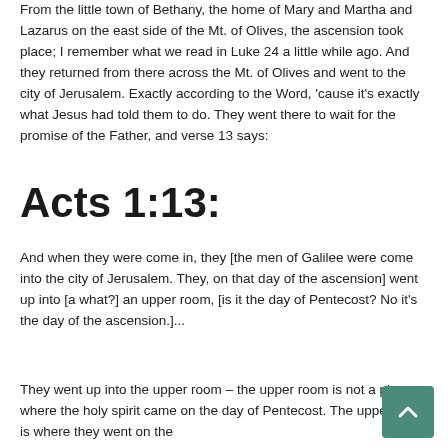From the little town of Bethany, the home of Mary and Martha and Lazarus on the east side of the Mt. of Olives, the ascension took place; I remember what we read in Luke 24 a little while ago. And they returned from there across the Mt. of Olives and went to the city of Jerusalem. Exactly according to the Word, 'cause it's exactly what Jesus had told them to do. They went there to wait for the promise of the Father, and verse 13 says:
Acts 1:13:
And when they were come in, they [the men of Galilee were come into the city of Jerusalem. They, on that day of the ascension] went up into [a what?] an upper room, [is it the day of Pentecost? No it's the day of the ascension.]...
They went up into the upper room – the upper room is not a place where the holy spirit came on the day of Pentecost. The upper room is where they went on the day of the ascension.